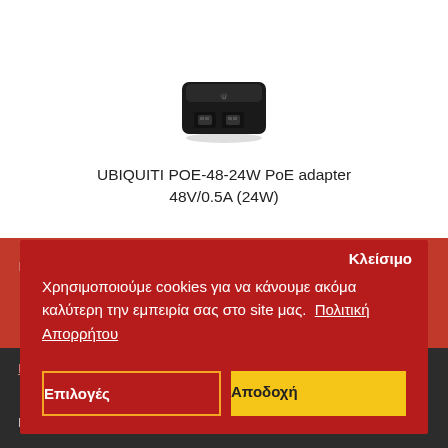[Figure (photo): Ubiquiti POE-48-24W PoE adapter device, black, small rectangular box with two ethernet ports]
UBIQUITI POE-48-24W PoE adapter 48V/0.5A (24W)
Καλέστε μας για τιμ
Εικόνα: UBIQUITI U-POE-af, μικρότερο 2C Cat, U-POE-af,
Χρησιμοποιούμε cookies για να κάνουμε ακόμα καλύτερη την εμπειρία σας στο site μας.  Πολιτική Απορρήτου
Κλείσιμο
Επιλογές
Αποδοχή
ΠΛΗΡΟΦΟΡΙΕΣ
Εταιρικό Προφιλ